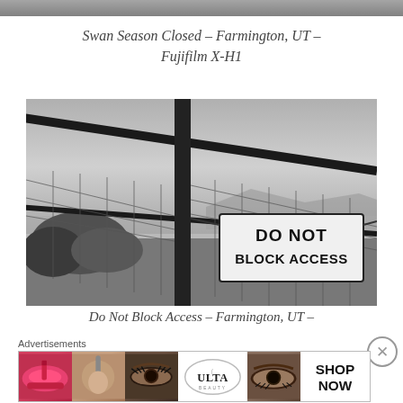[Figure (photo): Partial photo strip at top of page, gray/overcast outdoor scene]
Swan Season Closed – Farmington, UT – Fujifilm X-H1
[Figure (photo): Black and white photo of a metal fence gate with a sign reading DO NOT BLOCK ACCESS, with a lake and mountains in the background and bare shrubs on the left]
Do Not Block Access – Farmington, UT –
Advertisements
[Figure (photo): Ulta Beauty advertisement strip showing makeup images: red lips, makeup brush, eye with eye shadow, Ulta Beauty logo, eye with dramatic makeup, and SHOP NOW text]